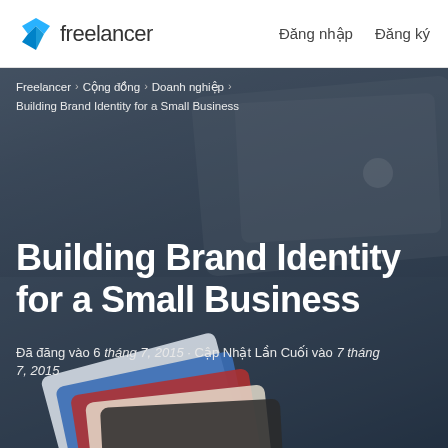Freelancer  Đăng nhập  Đăng ký
[Figure (screenshot): Hero image of a briefcase with metal clasps and scattered credit cards on a dark background, with a dark overlay]
Freelancer › Cộng đồng › Doanh nghiệp › Building Brand Identity for a Small Business
Building Brand Identity for a Small Business
Đã đăng vào 6 tháng 7, 2015 · Cập Nhật Lần Cuối vào 7 tháng 7, 2015